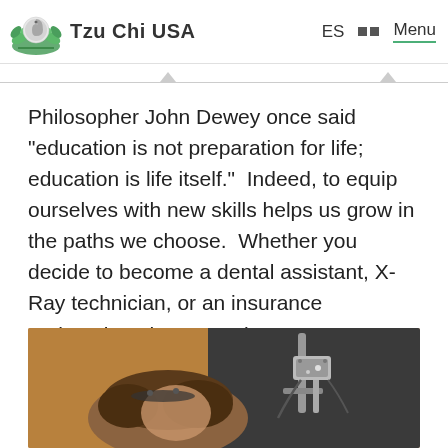Tzu Chi USA   ES   Menu
Philosopher John Dewey once said “education is not preparation for life; education is life itself.”  Indeed, to equip ourselves with new skills helps us grow in the paths we choose.  Whether you decide to become a dental assistant, X-Ray technician, or an insurance underwriter, there are classes you can take now to get a leg up and be well on your way to a new career in healthcare.
[Figure (photo): A person receiving a dental X-ray examination, with dental/medical equipment visible including an X-ray arm/device. The patient has dark hair and is seated, and dental equipment is visible in the scene.]